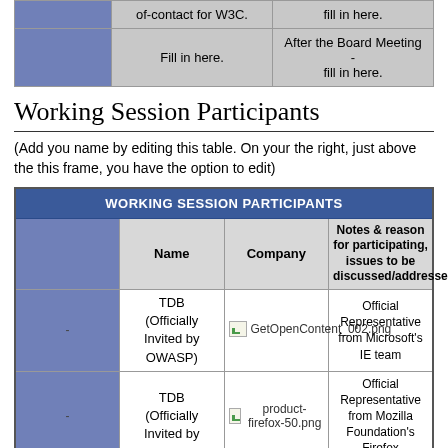|  | of-contact for W3C. | fill in here. |
|  | Fill in here. | After the Board Meeting - fill in here. |
Working Session Participants
(Add you name by editing this table. On your the right, just above the this frame, you have the option to edit)
| WORKING SESSION PARTICIPANTS |
| --- |
|  | Name | Company | Notes & reason for participating, issues to be discussed/addressed |
| - | TDB (Officially Invited by OWASP) | [GetOpenContent_002.png] | Official Representative from Microsoft's IE team |
| - | TDB (Officially Invited by | [product-firefox-50.png] | Official Representative from Mozilla Foundation's Firefox |